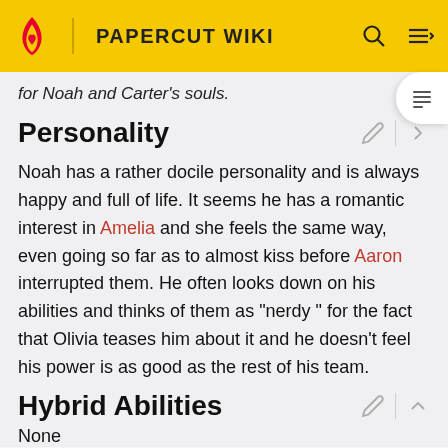PAPERCUT WIKI
for Noah and Carter's souls.
Personality
Noah has a rather docile personality and is always happy and full of life. It seems he has a romantic interest in Amelia and she feels the same way, even going so far as to almost kiss before Aaron interrupted them. He often looks down on his abilities and thinks of them as "nerdy" for the fact that Olivia teases him about it and he doesn't feel his power is as good as the rest of his team.
Hybrid Abilities
None